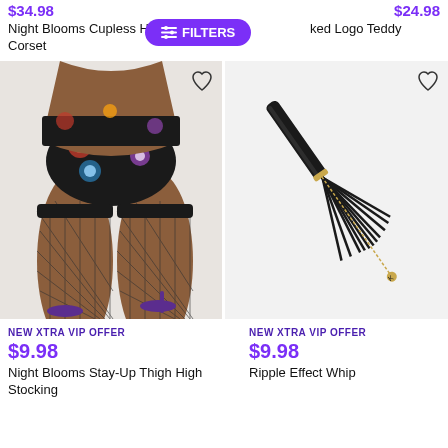$34.98  $24.98
Night Blooms Cupless Halter Corset  |  [Filters button]  |  ked Logo Teddy
[Figure (photo): Model wearing floral print lingerie briefs and fishnet thigh-high stockings with high heels, shown from waist down]
[Figure (photo): Black leather flogger whip with gold chain detail on white/grey background]
NEW XTRA VIP OFFER
$9.98
Night Blooms Stay-Up Thigh High Stocking
NEW XTRA VIP OFFER
$9.98
Ripple Effect Whip